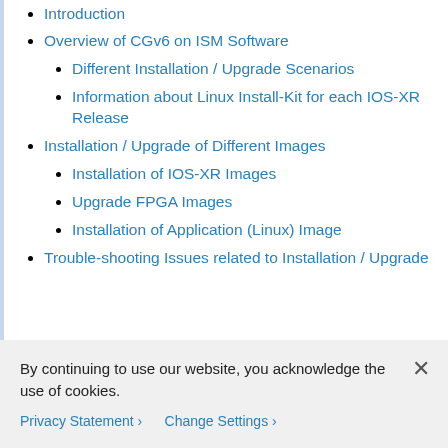Introduction
Overview of CGv6 on ISM Software
Different Installation / Upgrade Scenarios
Information about Linux Install-Kit for each IOS-XR Release
Installation / Upgrade of Different Images
Installation of IOS-XR Images
Upgrade FPGA Images
Installation of Application (Linux) Image
Trouble-shooting Issues related to Installation / Upgrade
By continuing to use our website, you acknowledge the use of cookies.
Privacy Statement ›   Change Settings ›